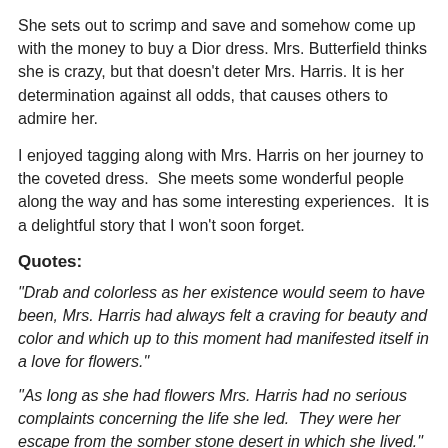She sets out to scrimp and save and somehow come up with the money to buy a Dior dress. Mrs. Butterfield thinks she is crazy, but that doesn't deter Mrs. Harris. It is her determination against all odds, that causes others to admire her.
I enjoyed tagging along with Mrs. Harris on her journey to the coveted dress.  She meets some wonderful people along the way and has some interesting experiences.  It is a delightful story that I won't soon forget.
Quotes:
"Drab and colorless as her existence would seem to have been, Mrs. Harris had always felt a craving for beauty and color and which up to this moment had manifested itself in a love for flowers."
"As long as she had flowers Mrs. Harris had no serious complaints concerning the life she led.  They were her escape from the somber stone desert in which she lived."